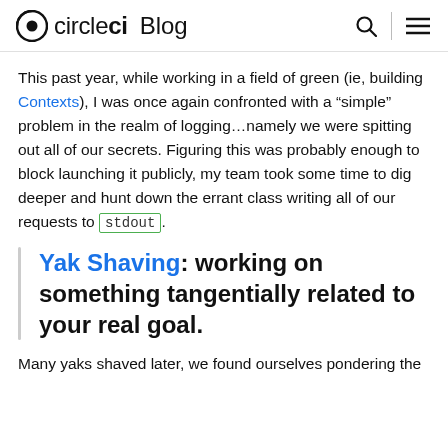circleci Blog
This past year, while working in a field of green (ie, building Contexts), I was once again confronted with a “simple” problem in the realm of logging…namely we were spitting out all of our secrets. Figuring this was probably enough to block launching it publicly, my team took some time to dig deeper and hunt down the errant class writing all of our requests to stdout.
Yak Shaving: working on something tangentially related to your real goal.
Many yaks shaved later, we found ourselves pondering the